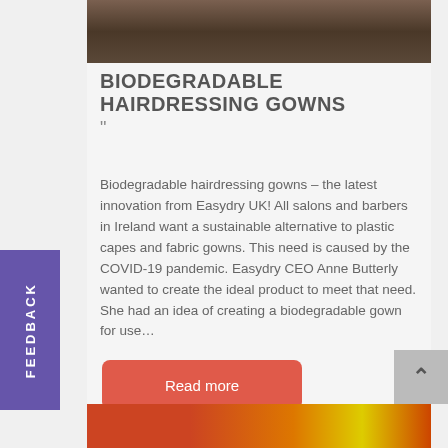[Figure (photo): Top portion of a person wearing a dark leather jacket, cropped view]
BIODEGRADABLE HAIRDRESSING GOWNS
Biodegradable hairdressing gowns – the latest innovation from Easydry UK!    All salons and barbers in Ireland want a sustainable alternative to plastic capes and fabric gowns. This need is caused by the COVID-19 pandemic. Easydry CEO Anne Butterly wanted to create the ideal product to meet that need. She had an idea of creating a biodegradable gown for use…
Read more
[Figure (photo): Bottom strip showing a colorful fire/flame image in red, orange, and yellow tones]